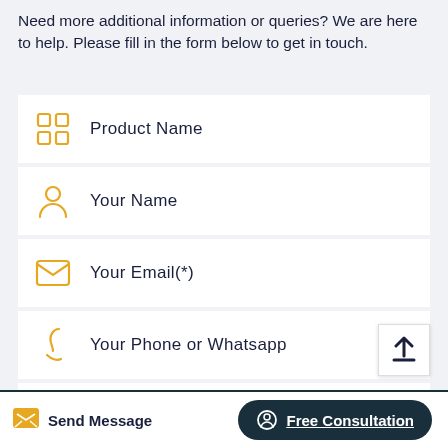Need more additional information or queries? We are here to help. Please fill in the form below to get in touch.
Product Name
Your Name
Your Email(*)
Your Phone or Whatsapp
Equipment name, model, related issues(*)
Send Message
Free Consultation